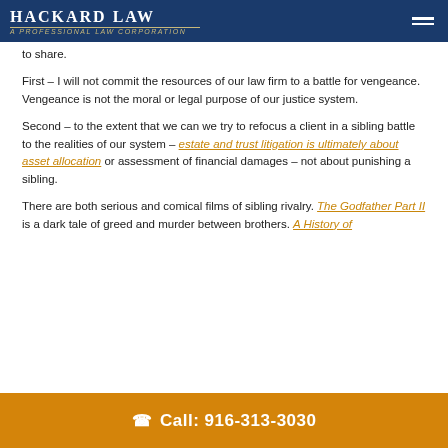HACKARD LAW — A Professional Law Corporation
to share.
First – I will not commit the resources of our law firm to a battle for vengeance. Vengeance is not the moral or legal purpose of our justice system.
Second – to the extent that we can we try to refocus a client in a sibling battle to the realities of our system – estate and trust litigation is ultimately about asset allocation or assessment of financial damages – not about punishing a sibling.
There are both serious and comical films of sibling rivalry. The Godfather Part II is a dark tale of greed and murder between brothers. A History of
Call: 916-313-3030